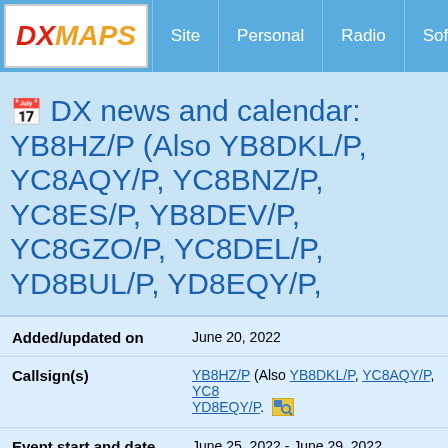DXMAPS | Site | Personal | Radio | Software | DX maps | DX n...
📅 DX news and calendar: YB8HZ/P (Also YB8DKL/P, YC8AQY/P, YC8BNZ/P, YC8ES/P, YB8DEV/P, YC8GZO/P, YC8DEL/P, YD8BUL/P, YD8EQY/P,
| Field | Value |
| --- | --- |
| Added/updated on | June 20, 2022 |
| Callsign(s) | YB8HZ/P (Also YB8DKL/P, YC8AQY/P, YC8... YD8EQY/P. |
| Event start and date | June 25, 2022 - June 29, 2022 |